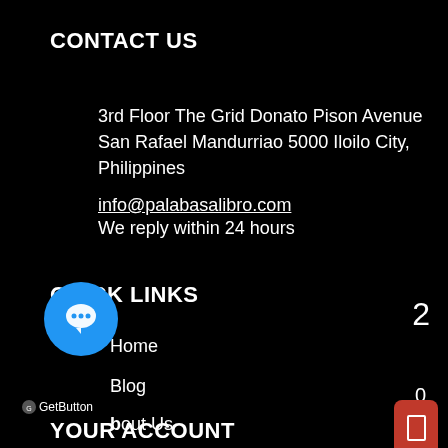CONTACT US
3rd Floor The Grid Donato Pison Avenue San Rafael Mandurriao 5000 Iloilo City, Philippines
info@palabasalibro.com
We reply within 24 hours
QUICK LINKS
Home
Blog
About Us
[Figure (other): Blue circular chat/GetButton widget with speech bubble icon and GetButton label]
YOUR ACCOUNT